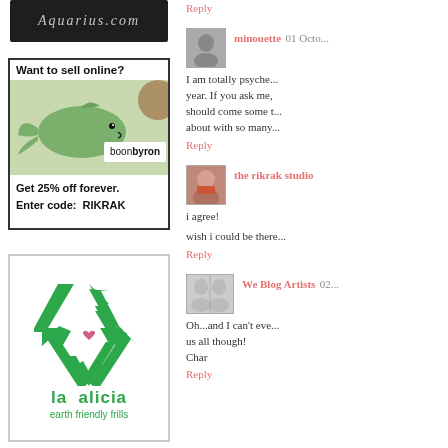[Figure (logo): Aquarius.com dark banner logo with stylized text on chalkboard background]
[Figure (infographic): boonbyron ad: 'Want to sell online? Get 25% off forever. Enter code: RIKRAK' with green whale plush image and boonbyron logo]
Reply
minouette 01 Octo...
I am totally psyche... year. If you ask me, should come some t... about with so many...
Reply
the rikrak studio
i agree!
wish i could be there...
Reply
[Figure (logo): la alicia earth friendly frills logo with green recycling symbol containing a pink heart]
We Blog Artists 02...
Oh...and I can't eve... us all though!
Char
Reply